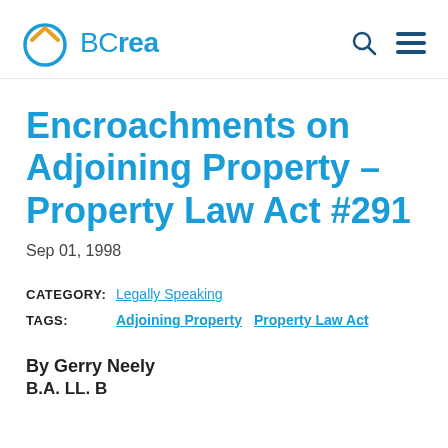[Figure (logo): BCrea logo with house icon in blue and orange, text 'BCrea' in blue]
Encroachments on Adjoining Property – Property Law Act #291
Sep 01, 1998
CATEGORY: Legally Speaking
TAGS: Adjoining Property   Property Law Act
By Gerry Neely